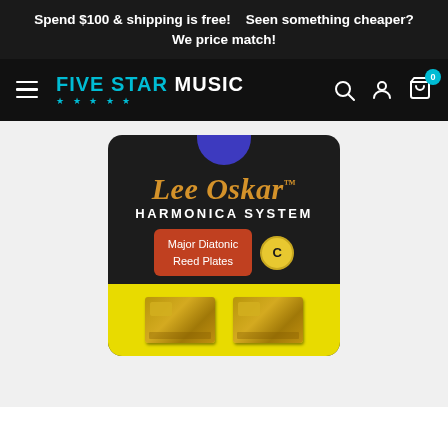Spend $100 & shipping is free!    Seen something cheaper? We price match!
[Figure (screenshot): Five Star Music website navigation bar with hamburger menu, logo, search, account, and cart icons]
[Figure (photo): Lee Oskar Harmonica System product package showing Major Diatonic Reed Plates in key of C, with black card packaging, purple hanger, orange script logo, and yellow bottom section with two gold reed plates]